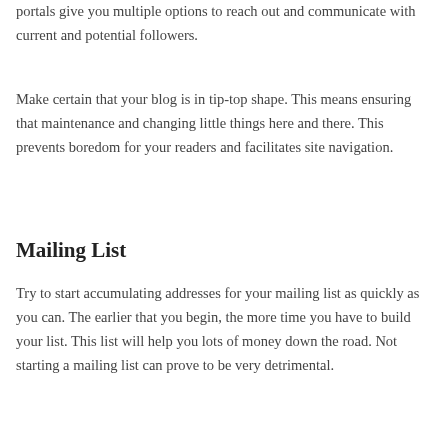portals give you multiple options to reach out and communicate with current and potential followers.
Make certain that your blog is in tip-top shape. This means ensuring that maintenance and changing little things here and there. This prevents boredom for your readers and facilitates site navigation.
Mailing List
Try to start accumulating addresses for your mailing list as quickly as you can. The earlier that you begin, the more time you have to build your list. This list will help you lots of money down the road. Not starting a mailing list can prove to be very detrimental.